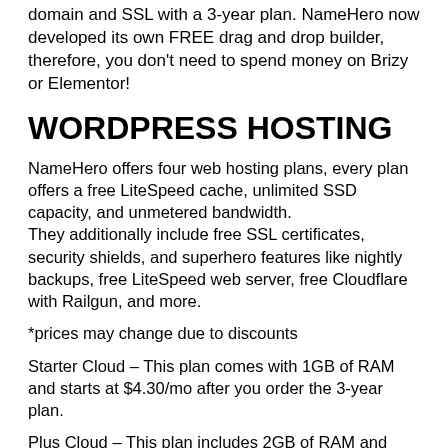domain and SSL with a 3-year plan. NameHero now developed its own FREE drag and drop builder, therefore, you don't need to spend money on Brizy or Elementor!
WORDPRESS HOSTING
NameHero offers four web hosting plans, every plan offers a free LiteSpeed cache, unlimited SSD capacity, and unmetered bandwidth. They additionally include free SSL certificates, security shields, and superhero features like nightly backups, free LiteSpeed web server, free Cloudflare with Railgun, and more.
*prices may change due to discounts
Starter Cloud – This plan comes with 1GB of RAM and starts at $4.30/mo after you order the 3-year plan.
Plus Cloud – This plan includes 2GB of RAM and starts at $6.22/mo for the 3-year plan.
Turbo Cloud – More about the Turbo Cloud...